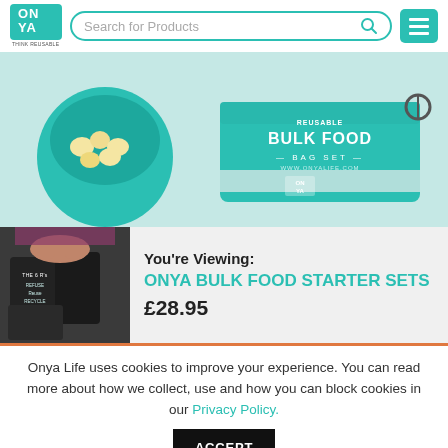Onya - Think Reusable | Search for Products | Menu
[Figure (photo): Hero banner showing teal/mint ONYA Reusable Bulk Food Bag Set products with popcorn in a bag and a folded bag set on a light background]
[Figure (photo): Thumbnail image of a person holding multiple dark ONYA reusable bags with refuse/reuse/recycle text]
You're Viewing:
ONYA BULK FOOD STARTER SETS
£28.95
Onya Life uses cookies to improve your experience. You can read more about how we collect, use and how you can block cookies in our Privacy Policy.
ACCEPT